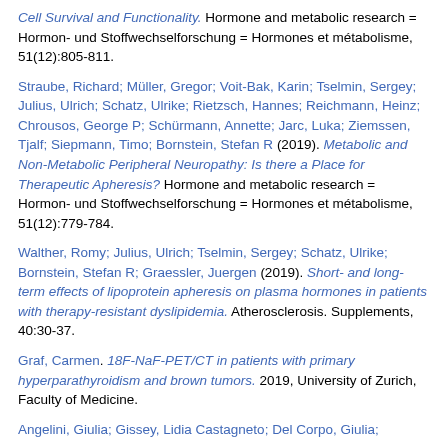Cell Survival and Functionality. Hormone and metabolic research = Hormon- und Stoffwechselforschung = Hormones et métabolisme, 51(12):805-811.
Straube, Richard; Müller, Gregor; Voit-Bak, Karin; Tselmin, Sergey; Julius, Ulrich; Schatz, Ulrike; Rietzsch, Hannes; Reichmann, Heinz; Chrousos, George P; Schürmann, Annette; Jarc, Luka; Ziemssen, Tjalf; Siepmann, Timo; Bornstein, Stefan R (2019). Metabolic and Non-Metabolic Peripheral Neuropathy: Is there a Place for Therapeutic Apheresis? Hormone and metabolic research = Hormon- und Stoffwechselforschung = Hormones et métabolisme, 51(12):779-784.
Walther, Romy; Julius, Ulrich; Tselmin, Sergey; Schatz, Ulrike; Bornstein, Stefan R; Graessler, Juergen (2019). Short- and long-term effects of lipoprotein apheresis on plasma hormones in patients with therapy-resistant dyslipidemia. Atherosclerosis. Supplements, 40:30-37.
Graf, Carmen. 18F-NaF-PET/CT in patients with primary hyperparathyroidism and brown tumors. 2019, University of Zurich, Faculty of Medicine.
Angelini, Giulia; Gissey, Lidia Castagneto; Del Corpo, Giulia;